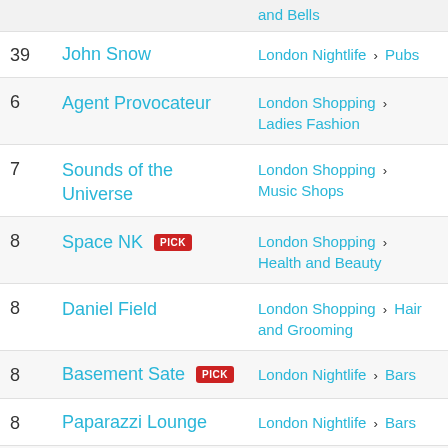and Bells (partial, top)
39 | John Snow | London Nightlife > Pubs
6 | Agent Provocateur | London Shopping > Ladies Fashion
7 | Sounds of the Universe | London Shopping > Music Shops
8 | Space NK PICK | London Shopping > Health and Beauty
8 | Daniel Field | London Shopping > Hair and Grooming
8 | Basement Sate PICK | London Nightlife > Bars
8 | Paparazzi Lounge | London Nightlife > Bars
8 | The Player | London Business > Venue Hire
41 | Carlton Coffee House | London Dining > Cafes (partial, bottom)